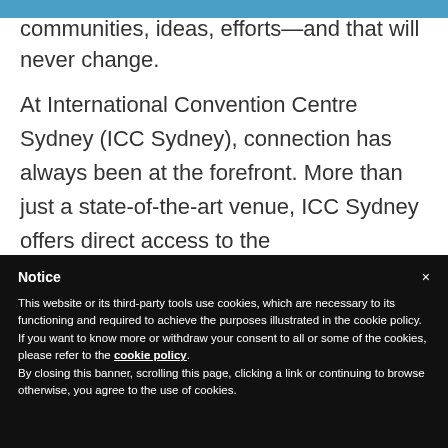direct connection—bringing together communities, ideas, efforts—and that will never change.
At International Convention Centre Sydney (ICC Sydney), connection has always been at the forefront. More than just a state-of-the-art venue, ICC Sydney offers direct access to the
Notice
This website or its third-party tools use cookies, which are necessary to its functioning and required to achieve the purposes illustrated in the cookie policy. If you want to know more or withdraw your consent to all or some of the cookies, please refer to the cookie policy.
By closing this banner, scrolling this page, clicking a link or continuing to browse otherwise, you agree to the use of cookies.